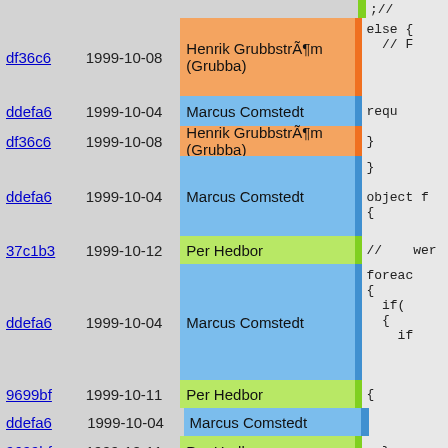| hash | date | author | bar | code |
| --- | --- | --- | --- | --- |
| df36c6 | 1999-10-08 | Henrik GrubbstrÃ¶m (Grubba) |  | else {
  // F |
| ddefa6 | 1999-10-04 | Marcus Comstedt |  | requ |
| df36c6 | 1999-10-08 | Henrik GrubbstrÃ¶m (Grubba) |  | } |
| ddefa6 | 1999-10-04 | Marcus Comstedt |  | }

object f
{ |
| 37c1b3 | 1999-10-12 | Per Hedbor |  | //      wer |
| ddefa6 | 1999-10-04 | Marcus Comstedt |  | foreac
{
  if(
  {
    if |
| 9699bf | 1999-10-11 | Per Hedbor |  | { |
| ddefa6 | 1999-10-04 | Marcus Comstedt |  |  |
| 9699bf | 1999-10-11 | Per Hedbor |  | } |
| ddefa6 | 1999-10-04 | Marcus Comstedt |  | re
}
}
// Ouc |